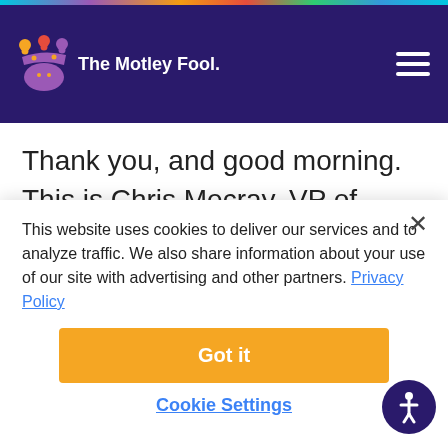The Motley Fool
Thank you, and good morning. This is Chris Mecray, VP of Investor Relations and Treasury. We appreciate your continued interest in Axalta and welcome you to our first quarter 2021 financial results conference call. Joining me today are Robert Bryant, CEO; and Sean Lannon, CFO. Last
This website uses cookies to deliver our services and to analyze traffic. We also share information about your use of our site with advertising and other partners. Privacy Policy
Got it
Cookie Settings